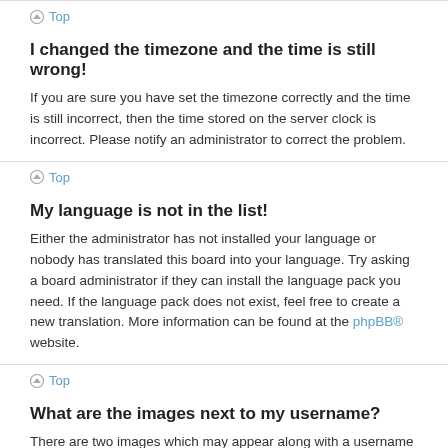Top
I changed the timezone and the time is still wrong!
If you are sure you have set the timezone correctly and the time is still incorrect, then the time stored on the server clock is incorrect. Please notify an administrator to correct the problem.
Top
My language is not in the list!
Either the administrator has not installed your language or nobody has translated this board into your language. Try asking a board administrator if they can install the language pack you need. If the language pack does not exist, feel free to create a new translation. More information can be found at the phpBB® website.
Top
What are the images next to my username?
There are two images which may appear along with a username when viewing posts. One of them may be an image associated with